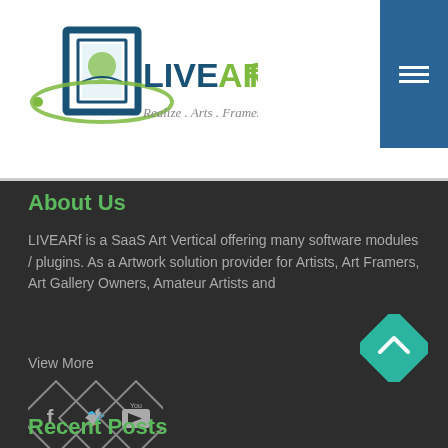[Figure (logo): LIVEARf logo with green orbital swirl around a framed artwork icon, text reads LIVEARF with tagline Realize.Arts.Frames]
[Figure (other): Blue hamburger menu button in top right corner]
About Us
LIVEARf is a SaaS Art Vertical offering many software modules / plugins. As a Artwork solution provider for Artists, Art Framers, Art Gallery Owners, Amateur Artists and
View More
[Figure (other): Three diamond-shaped social media icons: Facebook, Twitter, YouTube]
[Figure (other): Teal diamond-shaped back to top button with upward chevron]
Recent Posts